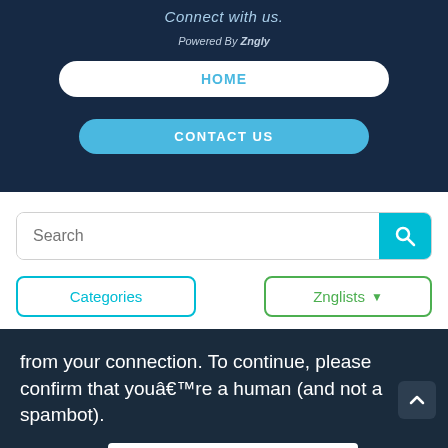Connect with us.
Powered By Zngly
HOME
CONTACT US
Search
Categories
Znglists
from your connection. To continue, please confirm that youâ€™re a human (and not a spambot).